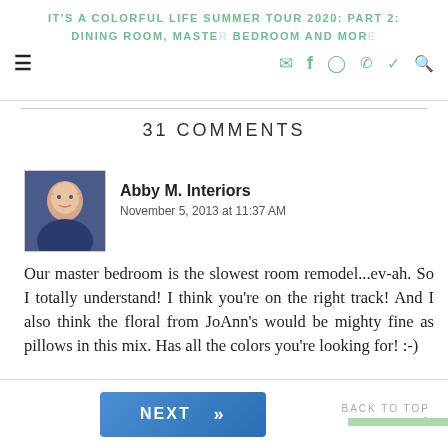IT'S A COLORFUL LIFE SUMMER TOUR 2020: PART 2: DINING ROOM, MASTER BEDROOM AND MORE
31 COMMENTS
Abby M. Interiors
November 5, 2013 at 11:37 AM
Our master bedroom is the slowest room remodel...ev-ah. So I totally understand! I think you're on the right track! And I also think the floral from JoAnn's would be mighty fine as pillows in this mix. Has all the colors you're looking for! :-)
NEXT >> BACK TO TOP on Newz Online